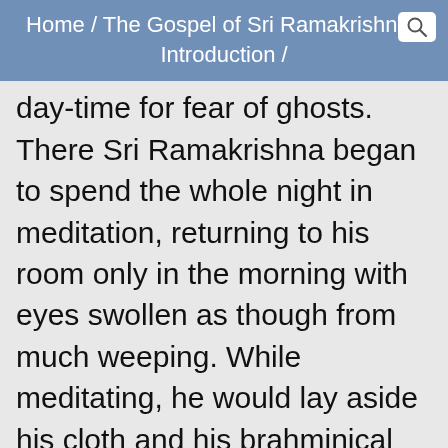Home / The Gospel of Sri Ramakrishna / Introduction /
day-time for fear of ghosts. There Sri Ramakrishna began to spend the whole night in meditation, returning to his room only in the morning with eyes swollen as though from much weeping. While meditating, he would lay aside his cloth and his brahminical thread. Explaining this strange conduct, he once said to Hriday: "Don't you know that when one thinks of God one should be freed